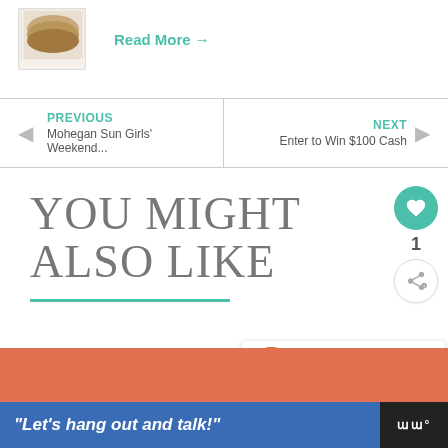[Figure (photo): Food photo showing pancakes on a white plate]
Read More →
← PREVIOUS
Mohegan Sun Girls' Weekend...
NEXT →
Enter to Win $100 Cash
YOU MIGHT ALSO LIKE
[Figure (infographic): Heart/like button with teal background and count of 1, plus share button]
WHAT'S NEXT → CNC Meal Plan: Week ...
"Let's hang out and talk!"